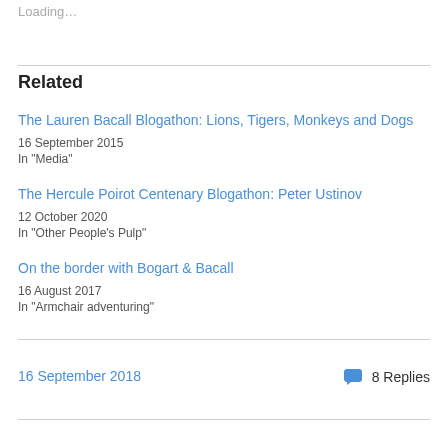Loading…
Related
The Lauren Bacall Blogathon: Lions, Tigers, Monkeys and Dogs
16 September 2015
In "Media"
The Hercule Poirot Centenary Blogathon: Peter Ustinov
12 October 2020
In "Other People's Pulp"
On the border with Bogart & Bacall
16 August 2017
In "Armchair adventuring"
16 September 2018
8 Replies